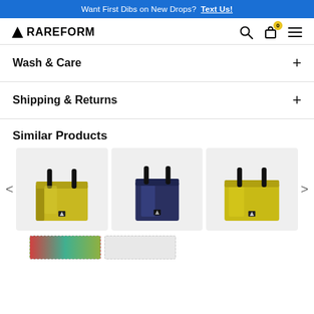Want First Dibs on New Drops? Text Us!
[Figure (logo): RAREFORM logo with triangle icon]
Wash & Care
Shipping & Returns
Similar Products
[Figure (photo): Yellow tote bag with black handles]
[Figure (photo): Navy blue tote bag with black handles]
[Figure (photo): Yellow/green tote bag with black handles]